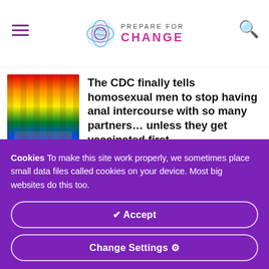PREPARE FOR CHANGE
The CDC finally tells homosexual men to stop having anal intercourse with so many partners… unless they get vaccinated first
We Are Not the First Civilization to Collapse, But We Will Probably Be the
Cookies To make this site work properly, we sometimes place small data files called cookies on your device. Most big websites do this too.
✔ Accept
Change Settings ⚙